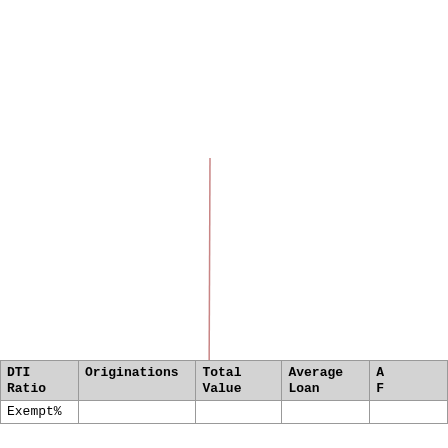[Figure (continuous-plot): Mostly blank chart area with a thin vertical reddish-pink line near the center-left, spanning vertically from approximately y=170 to y=430 in the image. The chart appears to be a nearly empty bar or line chart with a single very thin bar or line visible.]
| DTI Ratio | Originations | Total Value | Average Loan | A... F... |
| --- | --- | --- | --- | --- |
| Exempt% |  |  |  |  |